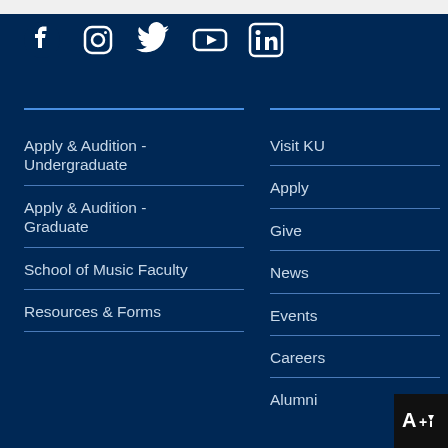[Figure (other): Social media icons row: Facebook, Instagram, Twitter, YouTube, LinkedIn in white on dark blue background]
Apply & Audition - Undergraduate
Apply & Audition - Graduate
School of Music Faculty
Resources & Forms
Visit KU
Apply
Give
News
Events
Careers
Alumni